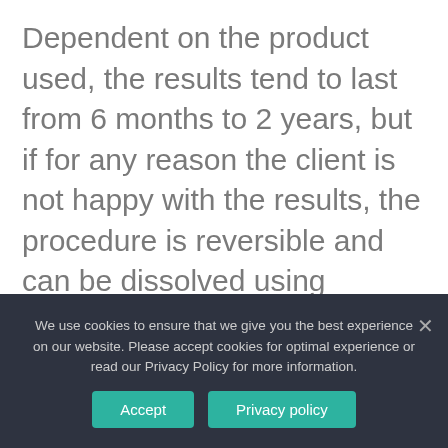Dependent on the product used, the results tend to last from 6 months to 2 years, but if for any reason the client is not happy with the results, the procedure is reversible and can be dissolved using hyaluronidase – but we do advise to wait for 3 weeks after the procedure for any swelling to completely subside.
Results are immediate but not permanent,
We use cookies to ensure that we give you the best experience on our website. Please accept cookies for optimal experience or read our Privacy Policy for more information.